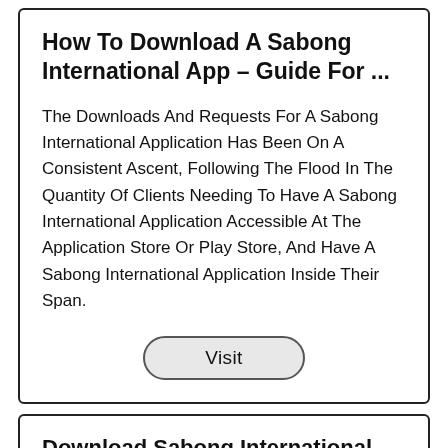How To Download A Sabong International App – Guide For ...
The Downloads And Requests For A Sabong International Application Has Been On A Consistent Ascent, Following The Flood In The Quantity Of Clients Needing To Have A Sabong International Application Accessible At The Application Store Or Play Store, And Have A Sabong International Application Inside Their Span.
[Figure (other): A pill-shaped button labeled 'Visit' with a light gray background and dark border]
Download Sabong International App: